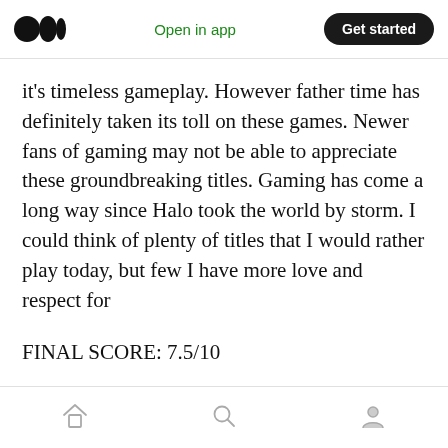Medium logo | Open in app | Get started
it's timeless gameplay. However father time has definitely taken its toll on these games. Newer fans of gaming may not be able to appreciate these groundbreaking titles. Gaming has come a long way since Halo took the world by storm. I could think of plenty of titles that I would rather play today, but few I have more love and respect for
FINAL SCORE: 7.5/10
Home | Search | Profile icons